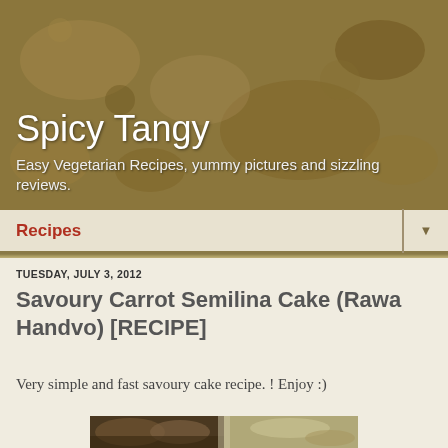[Figure (photo): Textured food/grain background image in warm golden-brown tones forming the blog header]
Spicy Tangy
Easy Vegetarian Recipes, yummy pictures and sizzling reviews.
Recipes ▼
TUESDAY, JULY 3, 2012
Savoury Carrot Semilina Cake (Rawa Handvo) [RECIPE]
Very simple and fast savoury cake recipe. ! Enjoy :)
[Figure (photo): Partial view of a food photograph showing the savoury cake dish]